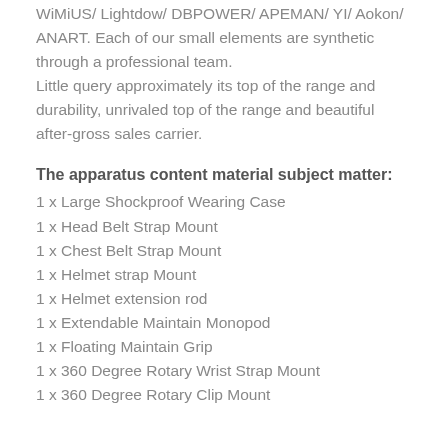WiMiUS/ Lightdow/ DBPOWER/ APEMAN/ YI/ Aokon/ ANART. Each of our small elements are synthetic through a professional team.
Little query approximately its top of the range and durability, unrivaled top of the range and beautiful after-gross sales carrier.
The apparatus content material subject matter:
1 x Large Shockproof Wearing Case
1 x Head Belt Strap Mount
1 x Chest Belt Strap Mount
1 x Helmet strap Mount
1 x Helmet extension rod
1 x Extendable Maintain Monopod
1 x Floating Maintain Grip
1 x 360 Degree Rotary Wrist Strap Mount
1 x 360 Degree Rotary Clip Mount